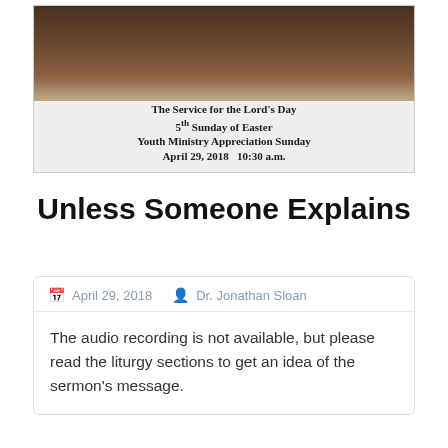[Figure (photo): Photo of a church bulletin resting on a dark brown wooden surface. The bulletin's paper shows text for the church service.]
The Service for the Lord's Day
5th Sunday of Easter
Youth Ministry Appreciation Sunday
April 29, 2018   10:30 a.m.
Unless Someone Explains
April 29, 2018   Dr. Jonathan Sloan
The audio recording is not available, but please read the liturgy sections to get an idea of the sermon's message.